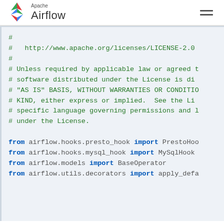Apache Airflow
#
#   http://www.apache.org/licenses/LICENSE-2.0
#
# Unless required by applicable law or agreed t
# software distributed under the License is di
# "AS IS" BASIS, WITHOUT WARRANTIES OR CONDITI
# KIND, either express or implied.  See the Li
# specific language governing permissions and l
# under the License.

from airflow.hooks.presto_hook import PrestoHoo
from airflow.hooks.mysql_hook import MySqlHook
from airflow.models import BaseOperator
from airflow.utils.decorators import apply_defa